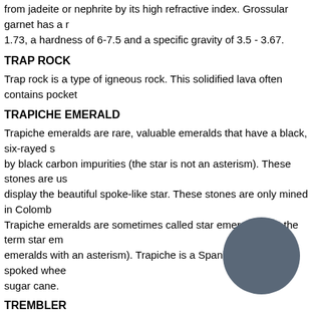from jadeite or nephrite by its high refractive index. Grossular garnet has a refractive index of 1.73, a hardness of 6-7.5 and a specific gravity of 3.5 - 3.67.
TRAP ROCK
Trap rock is a type of igneous rock. This solidified lava often contains pocket
TRAPICHE EMERALD
Trapiche emeralds are rare, valuable emeralds that have a black, six-rayed star caused by black carbon impurities (the star is not an asterism). These stones are usually cut to display the beautiful spoke-like star. These stones are only mined in Colombia. Trapiche emeralds are sometimes called star emeralds (but the term star emerald usually refers to emeralds with an asterism). Trapiche is a Spanish word for the spoked wheel used to grind sugar cane.
TREMBLER
A trembler is a piece of jewelry that has a part (or parts) set on a spring; the part moves when the wearer of the jewelry moves.
TRIFARI
Trifari is a pre-eminent jewelry manufacturing company that produces high-quality, well-designed pieces. The company began as Trifari and Trifari in 1910, founded by Gustavo Trifari and his uncle; a few years later, his uncle left and the company was simply Trifari. Leo Krussman joined Trifari in 1917. In 1930, designer Carl Fishel joined the company, then renamed